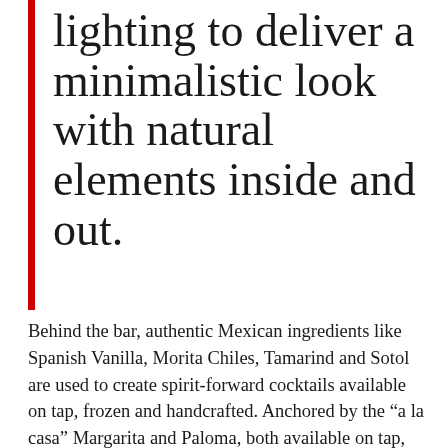lighting to deliver a minimalistic look with natural elements inside and out.
Behind the bar, authentic Mexican ingredients like Spanish Vanilla, Morita Chiles, Tamarind and Sotol are used to create spirit-forward cocktails available on tap, frozen and handcrafted. Anchored by the “a la casa” Margarita and Paloma, both available on tap, selections include innovative cocktails like the Hotel Oaxaca (Mezcal, White Flowers, Pineapple, Lime, and Peach), the Pajarito (Rum,